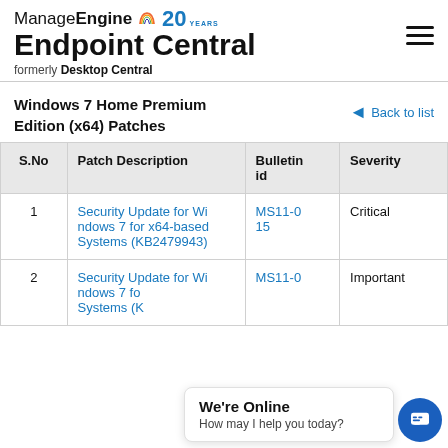ManageEngine Endpoint Central formerly Desktop Central
Windows 7 Home Premium Edition (x64) Patches
Back to list
| S.No | Patch Description | Bulletin id | Severity |
| --- | --- | --- | --- |
| 1 | Security Update for Windows 7 for x64-based Systems (KB2479943) | MS11-015 | Critical |
| 2 | Security Update for Windows 7 for x64-based Systems (K…) | MS11-0… | Important |
We're Online
How may I help you today?